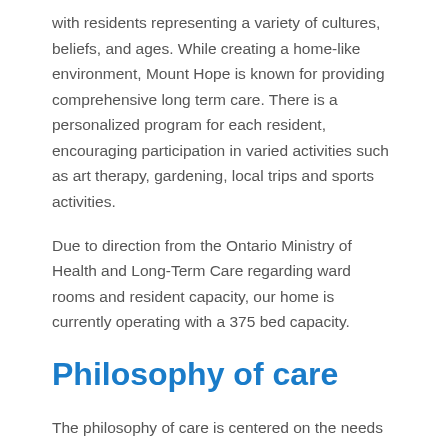with residents representing a variety of cultures, beliefs, and ages. While creating a home-like environment, Mount Hope is known for providing comprehensive long term care. There is a personalized program for each resident, encouraging participation in varied activities such as art therapy, gardening, local trips and sports activities.
Due to direction from the Ontario Ministry of Health and Long-Term Care regarding ward rooms and resident capacity, our home is currently operating with a 375 bed capacity.
Philosophy of care
The philosophy of care is centered on the needs of the individual and focused on enhancing independence, choice and personal wellness for the residents who live at Mount Hope. It additionally encompasses physical, social,